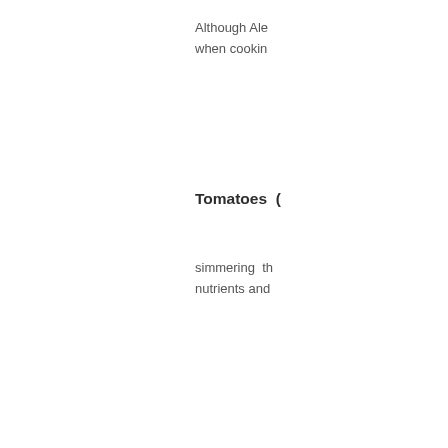Although Ale... when cookin...
Tomatoes (
simmering th... nutrients and...
Previous pag...